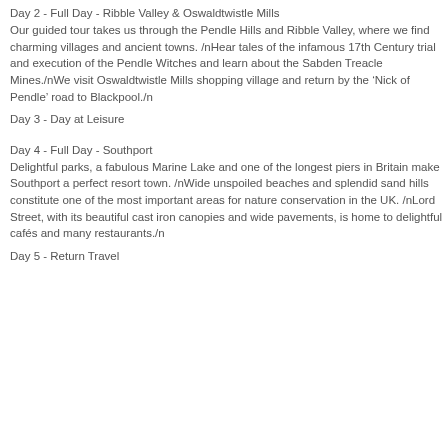Day 2 - Full Day - Ribble Valley & Oswaldtwistle Mills
Our guided tour takes us through the Pendle Hills and Ribble Valley, where we find charming villages and ancient towns. /nHear tales of the infamous 17th Century trial and execution of the Pendle Witches and learn about the Sabden Treacle Mines./nWe visit Oswaldtwistle Mills shopping village and return by the ‘Nick of Pendle’ road to Blackpool./n
Day 3 - Day at Leisure
Day 4 - Full Day - Southport
Delightful parks, a fabulous Marine Lake and one of the longest piers in Britain make Southport a perfect resort town. /nWide unspoiled beaches and splendid sand hills constitute one of the most important areas for nature conservation in the UK. /nLord Street, with its beautiful cast iron canopies and wide pavements, is home to delightful cafés and many restaurants./n
Day 5 - Return Travel